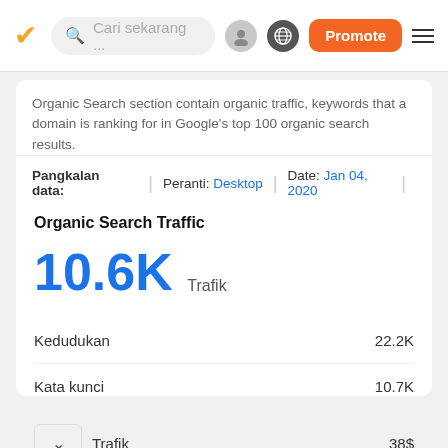Cari sekarang ...  Promote
Organic Search section contain organic traffic, keywords that a domain is ranking for in Google's top 100 organic search results.
Pangkalan data:  |  Peranti: Desktop  |  Date: Jan 04, 2020
Organic Search Traffic
10.6K  Trafik
| Label | Value |
| --- | --- |
| Kedudukan | 22.2K |
| Kata kunci | 10.7K |
| Trafik | 38$ |